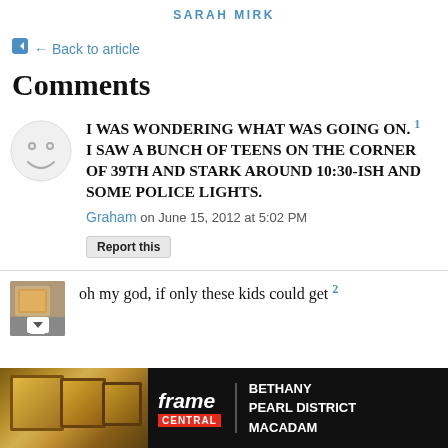SARAH MIRK
← Back to article
Comments
I WAS WONDERING WHAT WAS GOING ON. 1 I SAW A BUNCH OF TEENS ON THE CORNER OF 39TH AND STARK AROUND 10:30-ISH AND SOME POLICE LIGHTS.
Graham on June 15, 2012 at 5:02 PM
Report this
oh my god, if only these kids could get 2
[Figure (advertisement): Frame Central advertisement banner - Bethany Pearl District Macadam, with framed artwork image on left and logo on dark background]